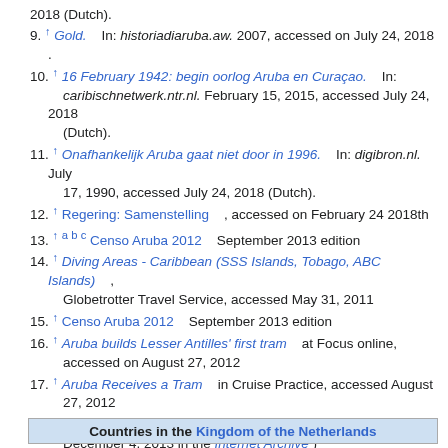2018 (Dutch).
9. ↑ Gold. In: historiadiaruba.aw. 2007, accessed on July 24, 2018 .
10. ↑ 16 February 1942: begin oorlog Aruba en Curaçao. In: caribischnetwerk.ntr.nl. February 15, 2015, accessed July 24, 2018 (Dutch).
11. ↑ Onafhankelijk Aruba gaat niet door in 1996. In: digibron.nl. July 17, 1990, accessed July 24, 2018 (Dutch).
12. ↑ Regering: Samenstelling , accessed on February 24 2018th
13. ↑ a b c Censo Aruba 2012 September 2013 edition
14. ↑ Diving Areas - Caribbean (SSS Islands, Tobago, ABC Islands) , Globetrotter Travel Service, accessed May 31, 2011
15. ↑ Censo Aruba 2012 September 2013 edition
16. ↑ Aruba builds Lesser Antilles' first tram at Focus online, accessed on August 27, 2012
17. ↑ Aruba Receives a Tram in Cruise Practice, accessed August 27, 2012
18. ↑ Dutch Caribbean island of Aruba trams ( Memento from December 4, 2013 in the Internet Archive )
19. ↑ Censo Aruba 2012 September 2013 edition
20. ↑ Censo Aruba 2012 September 2013 edition
| Countries in the Kingdom of the Netherlands |
| --- |